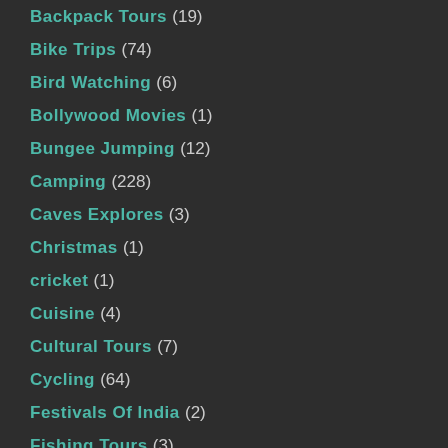Backpack Tours (19)
Bike Trips (74)
Bird Watching (6)
Bollywood Movies (1)
Bungee Jumping (12)
Camping (228)
Caves Explores (3)
Christmas (1)
cricket (1)
Cuisine (4)
Cultural Tours (7)
Cycling (64)
Festivals Of India (2)
Fishing Tours (3)
Flying Fox (10)
Food Destinations (3)
Football (1)